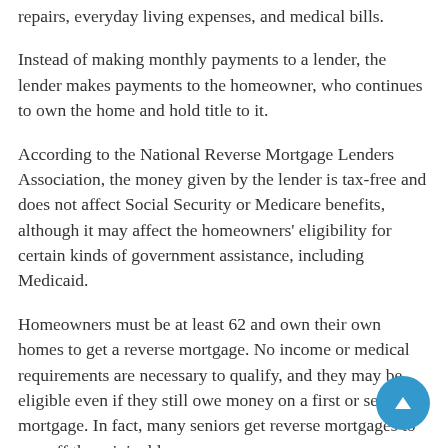repairs, everyday living expenses, and medical bills.
Instead of making monthly payments to a lender, the lender makes payments to the homeowner, who continues to own the home and hold title to it.
According to the National Reverse Mortgage Lenders Association, the money given by the lender is tax-free and does not affect Social Security or Medicare benefits, although it may affect the homeowners' eligibility for certain kinds of government assistance, including Medicaid.
Homeowners must be at least 62 and own their own homes to get a reverse mortgage. No income or medical requirements are necessary to qualify, and they may be eligible even if they still owe money on a first or second mortgage. In fact, many seniors get reverse mortgages to pay off the original loan.
Repaying a reverse mortgage is not necessary until the property is sold or the owner moves. Should the